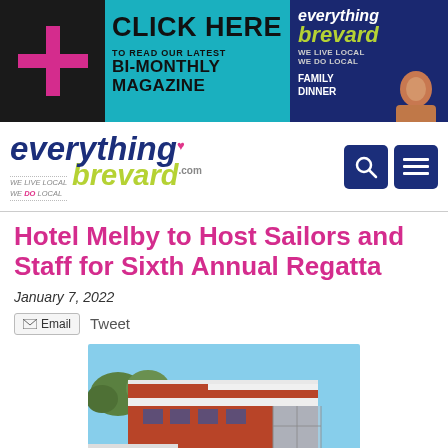[Figure (other): Advertisement banner for Everything Brevard magazine - 'Click Here to read our latest Bi-Monthly Magazine' with magazine cover showing Family Dinner issue]
[Figure (logo): Everything Brevard .com logo with heart symbol, 'We Live Local We Do Local' tagline, search and menu icons]
Hotel Melby to Host Sailors and Staff for Sixth Annual Regatta
January 7, 2022
Email  Tweet
[Figure (photo): Exterior photo of Hotel Melby building with brick/rust colored facade, white accent strips, and large glass windows, with trees and blue sky in background]